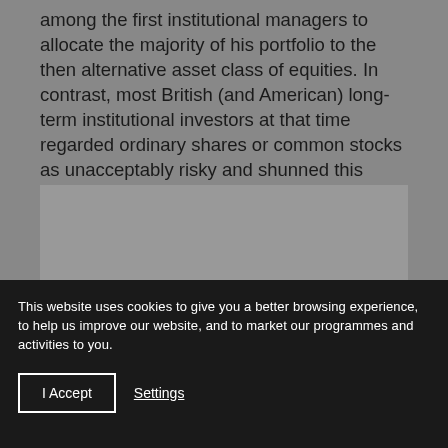among the first institutional managers to allocate the majority of his portfolio to the then alternative asset class of equities. In contrast, most British (and American) long-term institutional investors at that time regarded ordinary shares or common stocks as unacceptably risky and shunned this asset class in favour of fixed income and real estate.
[Figure (other): Gray rectangular area, partially obscured image or content block]
This website uses cookies to give you a better browsing experience, to help us improve our website, and to market our programmes and activities to you.
I Accept
Settings